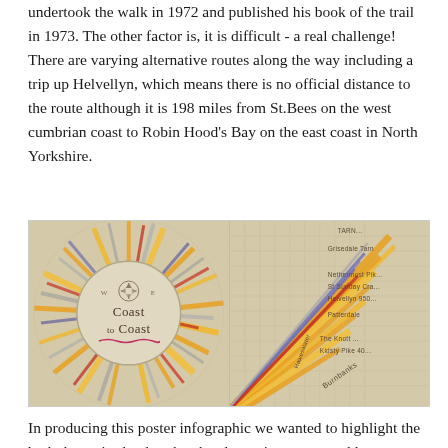undertook the walk in 1972 and published his book of the trail in 1973. The other factor is, it is difficult - a real challenge! There are varying alternative routes along the way including a trip up Helvellyn, which means there is no official distance to the route although it is 198 miles from St.Bees on the west cumbrian coast to Robin Hood's Bay on the east coast in North Yorkshire.
[Figure (infographic): Two-panel image of a Coast to Coast poster infographic. Left panel shows the full circular design with compass rose, 'W E' directions, and 'Coast to Coast' text in the center circle with radiating orange, yellow, grey and red bars. Right panel shows a zoomed detail of the infographic with location labels including Grisedale Tarn, Nethermost Pike, St Sunday Crag, Helvellyn, Patterdale, The Knott, Kidsty Pike, Burnbanks.]
In producing this poster infographic we wanted to highlight the both the major landmarks, the alternative routes and key